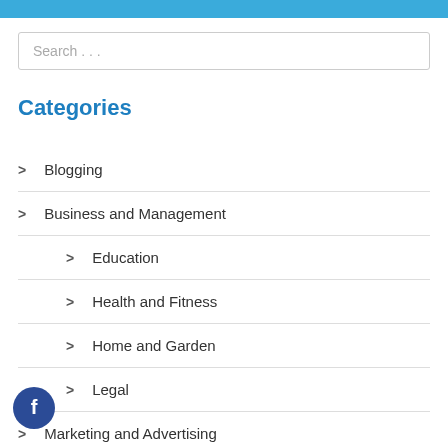Search ...
Categories
> Blogging
> Business and Management
> Education
> Health and Fitness
> Home and Garden
> Legal
> Marketing and Advertising